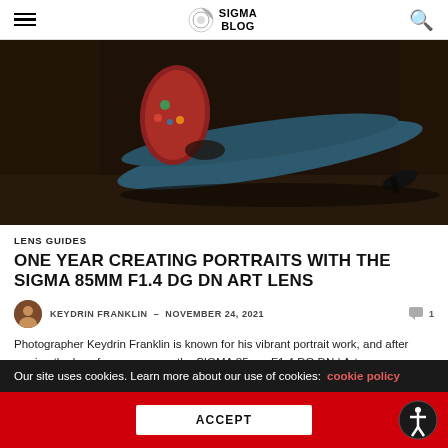SIGMA BLOG
[Figure (photo): Fashion/portrait photo of a woman in a floral top and blue jeans, lying/posing on the ground against a dark background]
LENS GUIDES
ONE YEAR CREATING PORTRAITS WITH THE SIGMA 85MM F1.4 DG DN ART LENS
KEYDRIN FRANKLIN – NOVEMBER 24, 2021
Photographer Keydrin Franklin is known for his vibrant portrait work, and after owning the lens for over a year, the SIGMA 85mm F1.4 DG DN | Art...
Our site uses cookies. Learn more about our use of cookies: cookie policy
ACCEPT